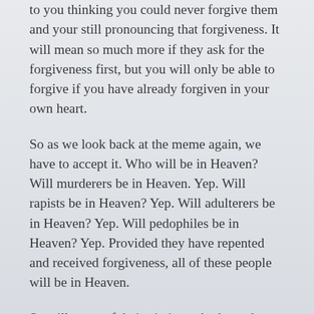to you thinking you could never forgive them and your still pronouncing that forgiveness. It will mean so much more if they ask for the forgiveness first, but you will only be able to forgive if you have already forgiven in your own heart.
So as we look back at the meme again, we have to accept it. Who will be in Heaven? Will murderers be in Heaven. Yep. Will rapists be in Heaven? Yep. Will adulterers be in Heaven? Yep. Will pedophiles be in Heaven? Yep. Provided they have repented and received forgiveness, all of these people will be in Heaven.
So will some of their victims who have done the same thing.
They would have it no other way.
Heaven is meant to be a place of unity and grace and love. It is not a place for hatred of your fellow man or pride or people